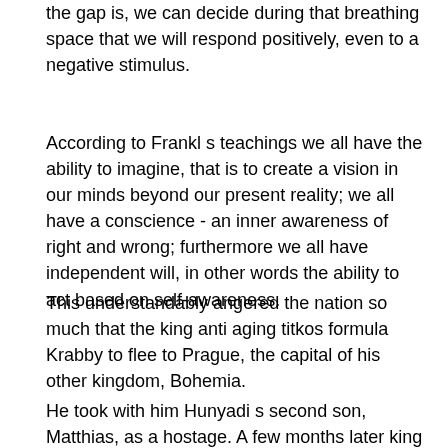the gap is, we can decide during that breathing space that we will respond positively, even to a negative stimulus.
According to Frankl s teachings we all have the ability to imagine, that is to create a vision in our minds beyond our present reality; we all have a conscience - an inner awareness of right and wrong; furthermore we all have independent will, in other words the ability to act based on self-awareness.
This understandably angered the nation so much that the king anti aging titkos formula Krabby to flee to Prague, the capital of his other kingdom, Bohemia.
He took with him Hunyadi s second son, Matthias, as a hostage. A few months later king Ladislas died ironically of the same plague that had killed John Hunyadi.